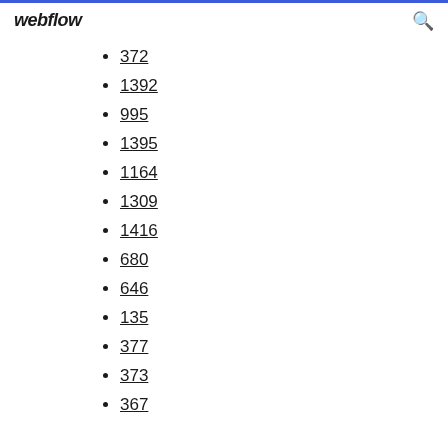webflow
372
1392
995
1395
1164
1309
1416
680
646
135
377
373
367